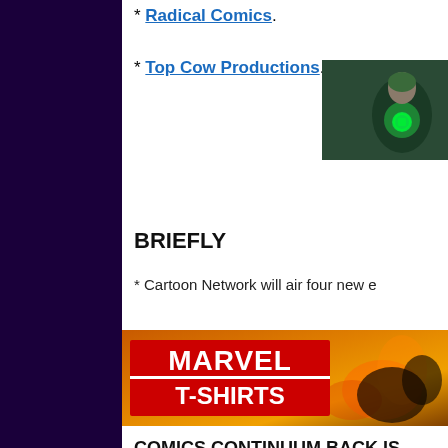* Radical Comics.
* Top Cow Productions.
[Figure (photo): Green Lantern movie promotional image showing a figure in green suit with Green Lantern logo text]
BRIEFLY
* Cartoon Network will air four new e
[Figure (photo): Marvel T-Shirts advertisement banner with red Marvel logo on golden/orange background]
COMICS CONTINUUM BACK IS